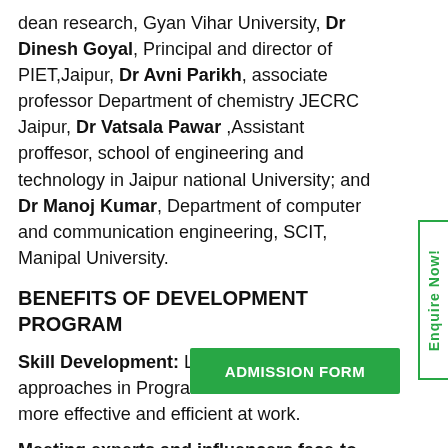dean research, Gyan Vihar University, Dr Dinesh Goyal, Principal and director of PIET,Jaipur, Dr Avni Parikh, associate professor Department of chemistry JECRC Jaipur, Dr Vatsala Pawar ,Assistant proffesor, school of engineering and technology in Jaipur national University; and Dr Manoj Kumar, Department of computer and communication engineering, SCIT, Manipal University.
BENEFITS OF DEVELOPMENT PROGRAM
Skill Development: Learning new ideas and approaches in Program make attendees more effective and efficient at work.
Meeting experts and influencers face-to-face: Delegates gets an opportunity to meet bunch of advisors that holds a position as an